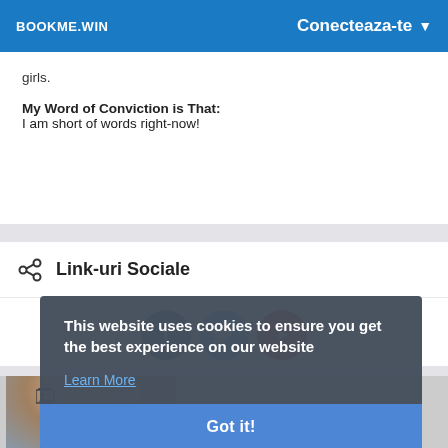BOOKME.WIN   Conecteaza-te
girls.
My Word of Conviction is That:
I am short of words right-now!
Link-uri Sociale
[Figure (illustration): Three social media icons: Facebook (blue circle with f), Twitter (light blue circle with bird), YouTube (red circle with play button)]
This website uses cookies to ensure you get the best experience on our website
Learn More
Got It!